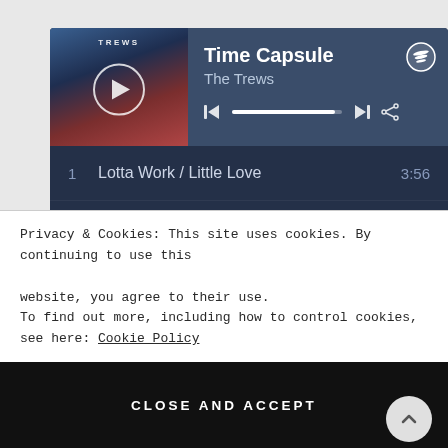[Figure (screenshot): Spotify embedded player showing album 'Time Capsule' by The Trews, with play button, progress bar, and track listing including: 1. Lotta Work / Little Love 3:56, 2. Not Ready to Go 3:03, 3. Tired of Waiting 4:27, 4. So She's Leaving 3:08, 5. Yearning 3:59, 6. Poor Ol' Broken Hearted Me 4:18]
Privacy & Cookies: This site uses cookies. By continuing to use this website, you agree to their use.
To find out more, including how to control cookies, see here: Cookie Policy
CLOSE AND ACCEPT